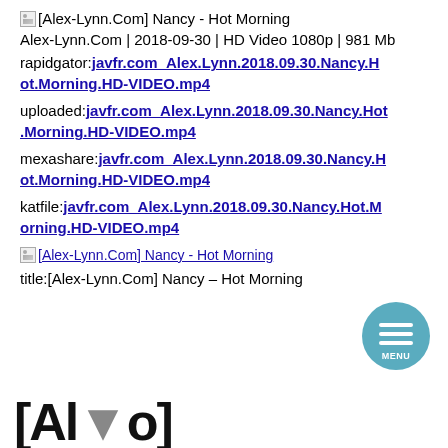[Alex-Lynn.Com] Nancy - Hot Morning
Alex-Lynn.Com | 2018-09-30 | HD Video 1080p | 981 Mb
rapidgator: javfr.com_Alex.Lynn.2018.09.30.Nancy.Hot.Morning.HD-VIDEO.mp4
uploaded: javfr.com_Alex.Lynn.2018.09.30.Nancy.Hot.Morning.HD-VIDEO.mp4
mexashare: javfr.com_Alex.Lynn.2018.09.30.Nancy.Hot.Morning.HD-VIDEO.mp4
katfile: javfr.com_Alex.Lynn.2018.09.30.Nancy.Hot.Morning.HD-VIDEO.mp4
[Alex-Lynn.Com] Nancy - Hot Morning
title:[Alex-Lynn.Com] Nancy – Hot Morning
[Figure (other): Menu button - circular teal button with hamburger icon and MENU label]
[Al...o]